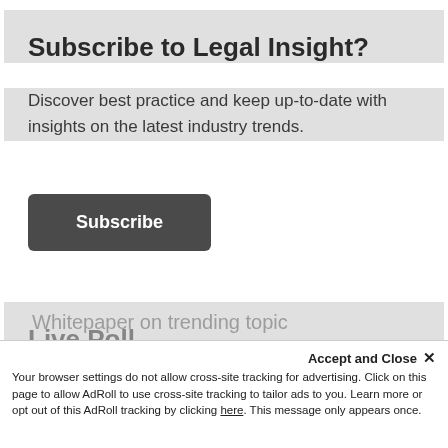Subscribe to Legal Insight?
Discover best practice and keep up-to-date with insights on the latest industry trends.
Subscribe
Live Poll
Readers, what insights would you like to gain next?
Your browser settings do not allow cross-site tracking for advertising. Click on this page to allow AdRoll to use cross-site tracking to tailor ads to you. Learn more or opt out of this AdRoll tracking by clicking here. This message only appears once.